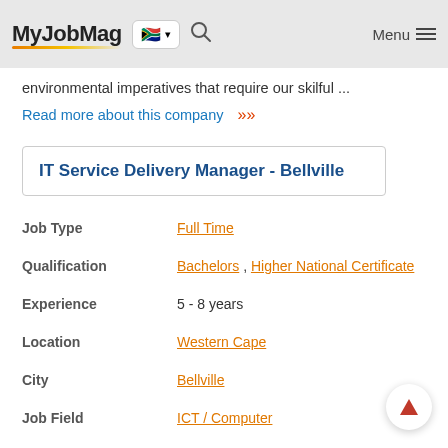MyJobMag
environmental imperatives that require our skilful ...
Read more about this company
IT Service Delivery Manager - Bellville
| Field | Value |
| --- | --- |
| Job Type | Full Time |
| Qualification | Bachelors , Higher National Certificate |
| Experience | 5 - 8 years |
| Location | Western Cape |
| City | Bellville |
| Job Field | ICT / Computer |